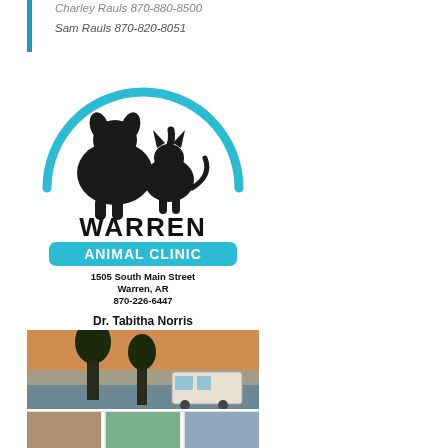Charley Rauls 870-880-8500
Sam Rauls 870-820-8051
[Figure (logo): Warren Animal Clinic logo with silhouettes of a dog and cat inside a teal semicircle arc, bold text WARREN, teal badge with ANIMAL CLINIC, address 1505 South Main Street, Warren, AR, 870-226-6447, Dr. Tabitha Norris]
[Figure (photo): Photo collage showing a camping scene with a trailer at sunset by a lake, and two smaller photos below]